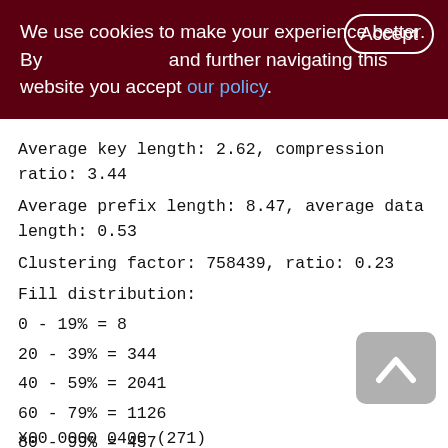We use cookies to make your experience better. By accepting and further navigating this website you accept our policy.
Average key length: 2.62, compression ratio: 3.44
Average prefix length: 8.47, average data length: 0.53
Clustering factor: 758439, ratio: 0.23
Fill distribution:
0 - 19% = 8
20 - 39% = 344
40 - 59% = 2041
60 - 79% = 1126
80 - 99% = 457
X00 0000 0400 (271)